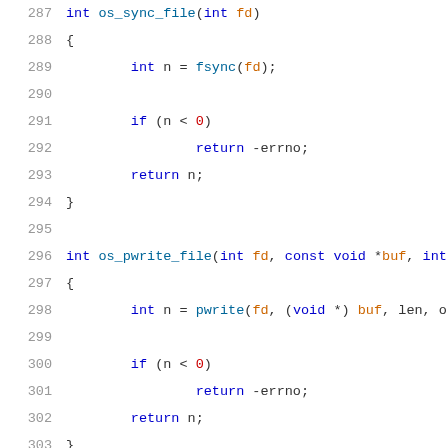[Figure (other): Source code listing in C, lines 287-307, showing functions os_sync_file, os_pwrite_file, and os_file_size with syntax highlighting]